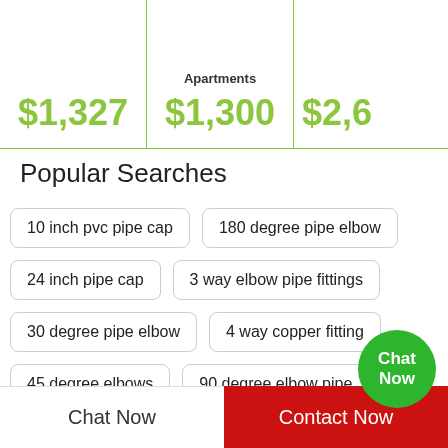|  | Apartments |  |
| --- | --- | --- |
| $1,327 | $1,300 | $2,6... |
Popular Searches
10 inch pvc pipe cap
180 degree pipe elbow
24 inch pipe cap
3 way elbow pipe fittings
30 degree pipe elbow
4 way copper fitting
45 degree elbows
90 degree elbow pipe
air brake fitting
air hose fittings
Chat Now | Contact Now